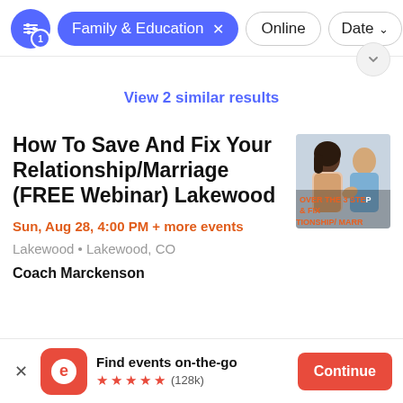Family & Education × | Online | Date
View 2 similar results
How To Save And Fix Your Relationship/Marriage (FREE Webinar) Lakewood
Sun, Aug 28, 4:00 PM + more events
Lakewood • Lakewood, CO
Coach Marckenson
[Figure (photo): Photo of a couple in an argument, with orange text overlay reading 'OVER THE 3 STEP & FIX TIONSHIP/MARR']
Find events on-the-go ★★★★★ (128k)
Continue